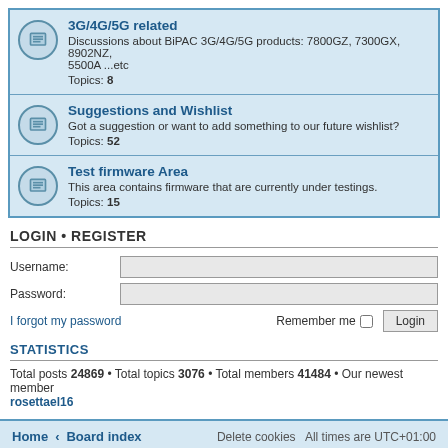3G/4G/5G related
Discussions about BiPAC 3G/4G/5G products: 7800GZ, 7300GX, 8902NZ, 5500A ...etc
Topics: 8
Suggestions and Wishlist
Got a suggestion or want to add something to our future wishlist?
Topics: 52
Test firmware Area
This area contains firmware that are currently under testings.
Topics: 15
LOGIN • REGISTER
Username:
Password:
I forgot my password    Remember me  Login
STATISTICS
Total posts 24869 • Total topics 3076 • Total members 41484 • Our newest member rosettael16
Home • Board index    Delete cookies  All times are UTC+01:00
Powered by phpBB® Forum Software © phpBB Limited
Privacy | Terms